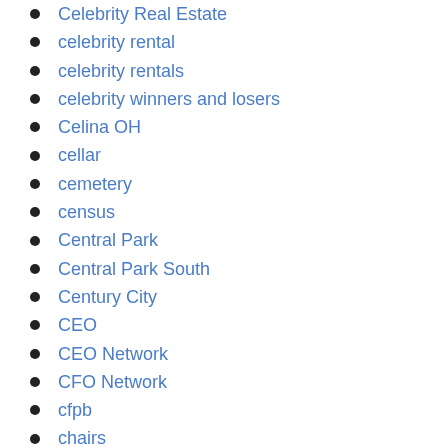Celebrity Real Estate
celebrity rental
celebrity rentals
celebrity winners and losers
Celina OH
cellar
cemetery
census
Central Park
Central Park South
Century City
CEO
CEO Network
CFO Network
cfpb
chairs
Chalco NE
chalkboard paint
Champaign IL